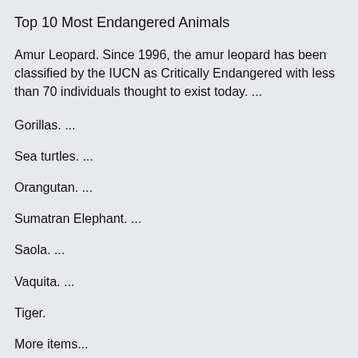Top 10 Most Endangered Animals
Amur Leopard. Since 1996, the amur leopard has been classified by the IUCN as Critically Endangered with less than 70 individuals thought to exist today. ...
Gorillas. ...
Sea turtles. ...
Orangutan. ...
Sumatran Elephant. ...
Saola. ...
Vaquita. ...
Tiger.
More items...